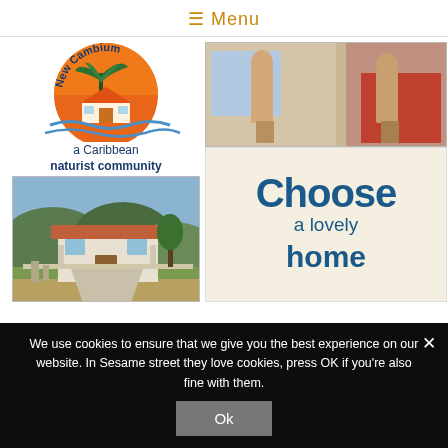≡ Menu
[Figure (logo): New Cambium logo: orange circular sunset with palm tree and house silhouette, waves below. Text: 'New Cambium' arc at top, 'a Caribbean naturist community' below.]
[Figure (photo): Photo of a house exterior with garden, driveway and fence, tropical setting.]
[Figure (photo): Photo of two people standing indoors.]
[Figure (infographic): Cream background panel with large blue bold text reading 'Choose a lovely home'.]
We use cookies to ensure that we give you the best experience on our website. In Sesame street they love cookies, press OK if you're also fine with them.
Ok